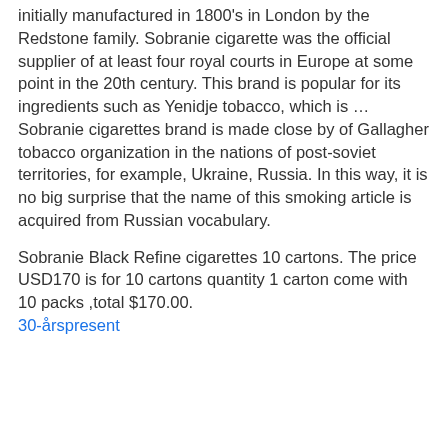initially manufactured in 1800's in London by the Redstone family. Sobranie cigarette was the official supplier of at least four royal courts in Europe at some point in the 20th century. This brand is popular for its ingredients such as Yenidje tobacco, which is … Sobranie cigarettes brand is made close by of Gallagher tobacco organization in the nations of post-soviet territories, for example, Ukraine, Russia. In this way, it is no big surprise that the name of this smoking article is acquired from Russian vocabulary.
Sobranie Black Refine cigarettes 10 cartons. The price USD170 is for 10 cartons quantity 1 carton come with 10 packs ,total $170.00.
30-årspresent